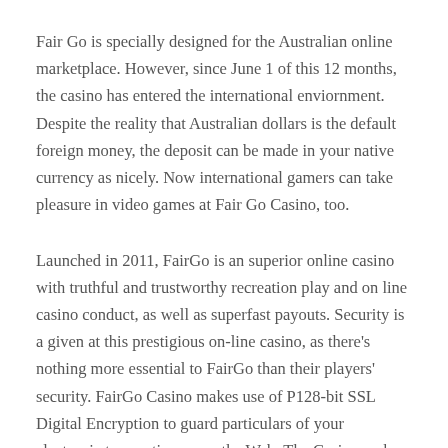Fair Go is specially designed for the Australian online marketplace. However, since June 1 of this 12 months, the casino has entered the international enviornment. Despite the reality that Australian dollars is the default foreign money, the deposit can be made in your native currency as nicely. Now international gamers can take pleasure in video games at Fair Go Casino, too.
Launched in 2011, FairGo is an superior online casino with truthful and trustworthy recreation play and on line casino conduct, as well as superfast payouts. Security is a given at this prestigious on-line casino, as there's nothing more essential to FairGo than their players' security. FairGo Casino makes use of P128-bit SSL Digital Encryption to guard particulars of your electronic transactions over the Web. The Casino makes use of DataCash anti-fraud technology to assist establish